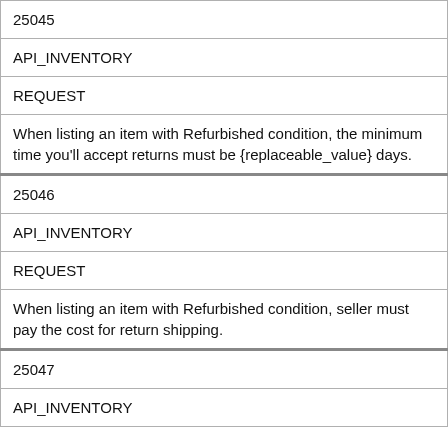| 25045 |
| API_INVENTORY |
| REQUEST |
| When listing an item with Refurbished condition, the minimum time you'll accept returns must be {replaceable_value} days. |
| 25046 |
| API_INVENTORY |
| REQUEST |
| When listing an item with Refurbished condition, seller must pay the cost for return shipping. |
| 25047 |
| API_INVENTORY |